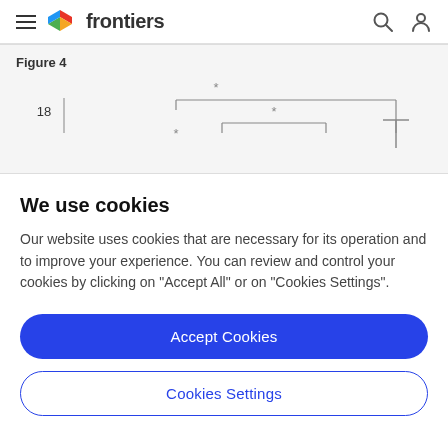frontiers
Figure 4
[Figure (other): Partial view of Figure 4 from a scientific paper showing statistical comparison brackets with asterisks (*) indicating significance, and a y-axis value of 18.]
We use cookies
Our website uses cookies that are necessary for its operation and to improve your experience. You can review and control your cookies by clicking on "Accept All" or on "Cookies Settings".
Accept Cookies
Cookies Settings